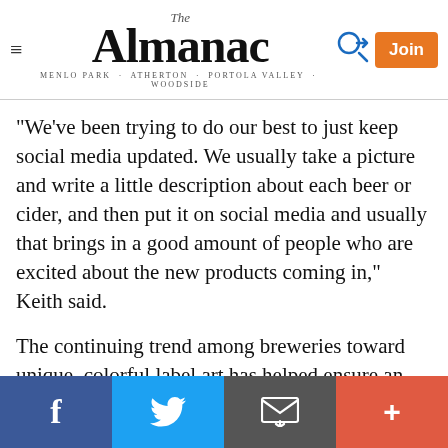The Almanac — MENLO PARK · ATHERTON · PORTOLA VALLEY · WOODSIDE
"We've been trying to do our best to just keep social media updated. We usually take a picture and write a little description about each beer or cider, and then put it on social media and usually that brings in a good amount of people who are excited about the new products coming in," Keith said.
The continuing trend among breweries toward unique, colorful label art has helped ensure an array of photos featuring bright, eye-catching cans and bottles that will pop on social media feeds. Some of those beautifully packaged beers actually would have been much harder to come by before the pandemic, as a number of breweries that typically sold to restaurants and bars have begun
Facebook | Twitter | Email | More